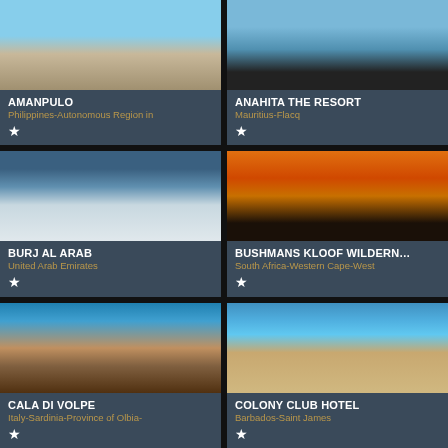[Figure (photo): Amanpulo resort beach photo]
AMANPULO
Philippines-Autonomous Region in
[Figure (photo): Anahita The Resort photo]
ANAHITA THE RESORT
Mauritius-Flacq
[Figure (photo): Burj Al Arab aerial dome photo]
BURJ AL ARAB
United Arab Emirates
[Figure (photo): Bushmans Kloof sunset mountain photo]
BUSHMANS KLOOF WILDERN…
South Africa-Western Cape-West
[Figure (photo): Cala Di Volpe aerial resort photo]
CALA DI VOLPE
Italy-Sardinia-Province of Olbia-
[Figure (photo): Colony Club Hotel beach photo]
COLONY CLUB HOTEL
Barbados-Saint James